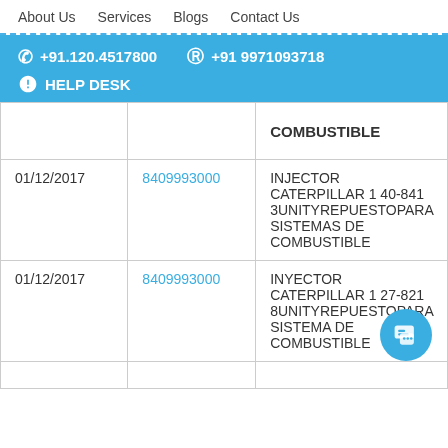About Us   Services   Blogs   Contact Us
+91.120.4517800   +91 9971093718   HELP DESK
| Date | Code | Description |
| --- | --- | --- |
|  |  | COMBUSTIBLE |
| 01/12/2017 | 8409993000 | INJECTOR CATERPILLAR 1 40-841 3UNITYREPUESTOPARA SISTEMAS DE COMBUSTIBLE |
| 01/12/2017 | 8409993000 | INYECTOR CATERPILLAR 1 27-821 8UNITYREPUESTOPARA SISTEMA DE COMBUSTIBLE |
|  |  |  |